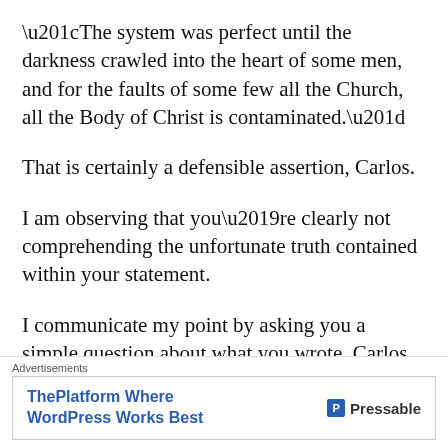“The system was perfect until the darkness crawled into the heart of some men, and for the faults of some few all the Church, all the Body of Christ is contaminated.”
That is certainly a defensible assertion, Carlos.
I am observing that you’re clearly not comprehending the unfortunate truth contained within your statement.
I communicate my point by asking you a simple question about what you wrote, Carlos.
Who … from your perspective … (I will accept
Advertisements
ThePlatform Where WordPress Works Best   P Pressable